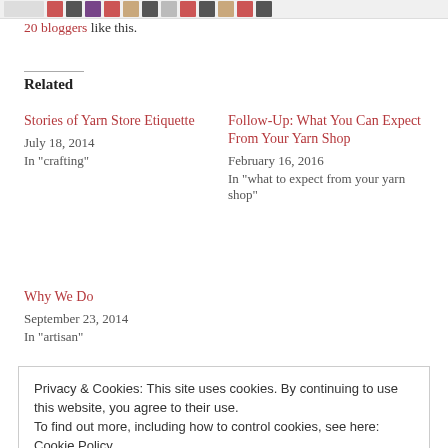20 bloggers like this.
Related
Stories of Yarn Store Etiquette
July 18, 2014
In "crafting"
Follow-Up: What You Can Expect From Your Yarn Shop
February 16, 2016
In "what to expect from your yarn shop"
Why We Do
September 23, 2014
In "artisan"
Privacy & Cookies: This site uses cookies. By continuing to use this website, you agree to their use. To find out more, including how to control cookies, see here: Cookie Policy
Close and accept